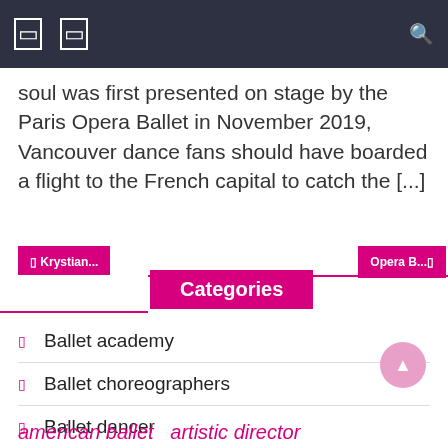Navigation bar with icons and search
soul was first presented on stage by the Paris Opera Ballet in November 2019, Vancouver dance fans should have boarded a flight to the French capital to catch the [...]
Categories
Ballet academy
Ballet choreographers
Ballet dancer
Opera ballet
american ballet  artistic director